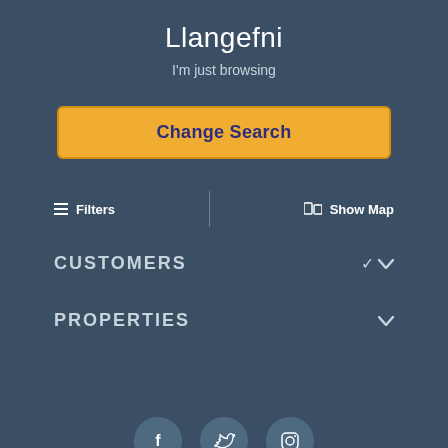Llangefni
I'm just browsing
Change Search
≡  Filters   |   🗺 Show Map
CUSTOMERS
PROPERTIES
[Figure (illustration): Three social media icon circles: Facebook (f), Twitter (bird), Instagram (camera)]
© Britain's Finest 2001-2022